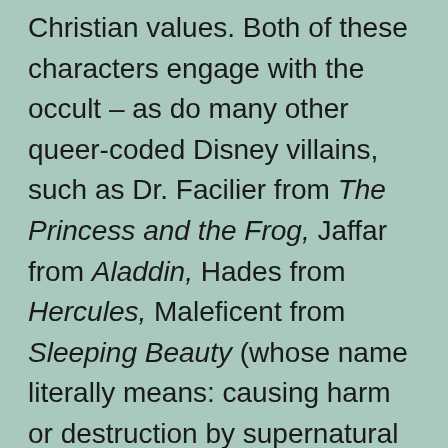Christian values. Both of these characters engage with the occult – as do many other queer-coded Disney villains, such as Dr. Facilier from The Princess and the Frog, Jaffar from Aladdin, Hades from Hercules, Maleficent from Sleeping Beauty (whose name literally means: causing harm or destruction by supernatural means), and Ursula from The Little Mermaid. However, both Elsa and Merida are welcomed (albeit hesitantly) back into the fold because they overpower their black magic curses. By the end of the movie, they have conformed to societal norms and values. In effect, this eliminates the threat that Disney